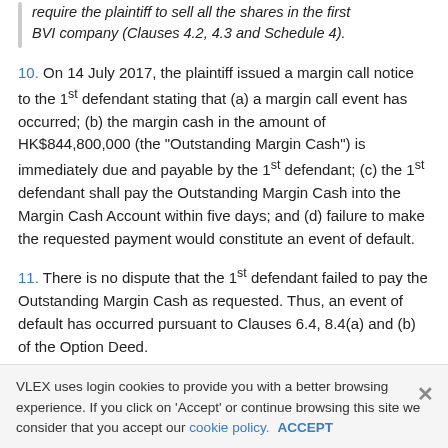require the plaintiff to sell all the shares in the first BVI company (Clauses 4.2, 4.3 and Schedule 4).
10. On 14 July 2017, the plaintiff issued a margin call notice to the 1st defendant stating that (a) a margin call event has occurred; (b) the margin cash in the amount of HK$844,800,000 (the “Outstanding Margin Cash”) is immediately due and payable by the 1st defendant; (c) the 1st defendant shall pay the Outstanding Margin Cash into the Margin Cash Account within five days; and (d) failure to make the requested payment would constitute an event of default.
11. There is no dispute that the 1st defendant failed to pay the Outstanding Margin Cash as requested. Thus, an event of default has occurred pursuant to Clauses 6.4, 8.4(a) and (b) of the Option Deed.
12. On 19 October 2017, the plaintiff exercised the Put Option and issued the Put Option Exercise...
VLEX uses login cookies to provide you with a better browsing experience. If you click on ‘Accept’ or continue browsing this site we consider that you accept our cookie policy. ACCEPT